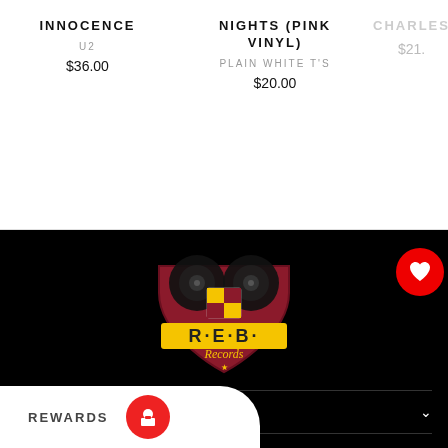INNOCENCE
U2
$36.00
NIGHTS (PINK VINYL)
PLAIN WHITE T'S
$20.00
CHARLES
$21.
[Figure (logo): REB Records logo — shield shape with vinyl records on top, Maryland flag crest in center, yellow banner with R·E·B· text, red shield, gold star at bottom]
LEGAL
CUSTOMER CARE
CONTACT
REWARDS